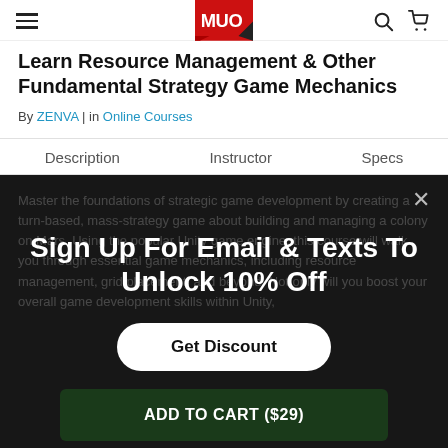MUO
Learn Resource Management & Other Fundamental Strategy Game Mechanics
By ZENVA | in Online Courses
Description | Instructor | Specs
Master the foundations of strategic game development by creating a turn-based, mass-strategy game about building and managing a colony on Mars. Using the popular Unity game engine, this course will walk you through essential game mechanics, including resource management, grid placement, and beyond. Not only will you boost your overall game development skills within Unity,
Sign Up For Email & Texts To Unlock 10% Off
Get Discount
ADD TO CART ($29)